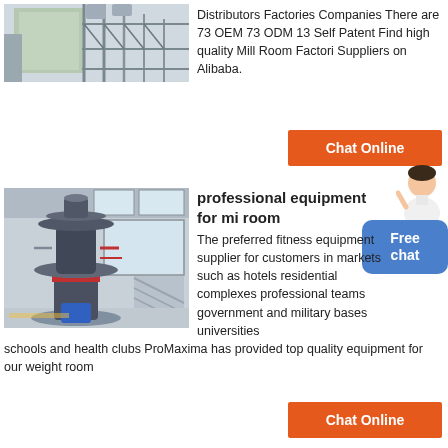[Figure (photo): Industrial building exterior with green silo/panel and steel scaffolding structure]
Distributors Factories Companies There are 73 OEM 73 ODM 13 Self Patent Find high quality Mill Room Factori Suppliers on Alibaba.
[Figure (other): Orange Chat Online button]
[Figure (photo): Industrial mill machine (vertical cylindrical grinder) in a large factory building]
professional equipment for mi room
The preferred fitness equipment supplier for customers in markets such as hotels residential complexes professional teams government and military bases universities schools and health clubs ProMaxima has provided top quality equipment for our weight room
[Figure (other): Orange Chat Online button]